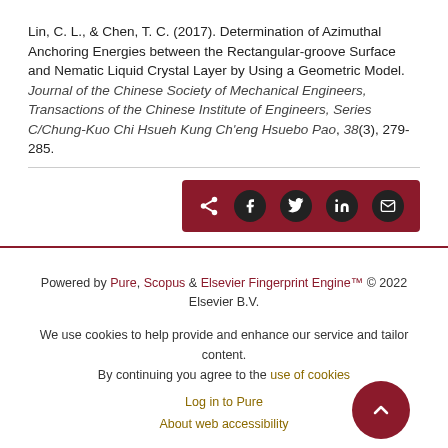Lin, C. L., & Chen, T. C. (2017). Determination of Azimuthal Anchoring Energies between the Rectangular-groove Surface and Nematic Liquid Crystal Layer by Using a Geometric Model. Journal of the Chinese Society of Mechanical Engineers, Transactions of the Chinese Institute of Engineers, Series C/Chung-Kuo Chi Hsueh Kung Ch'eng Hsuebo Pao, 38(3), 279-285.
[Figure (other): Social share bar with icons for share, Facebook, Twitter, LinkedIn, and email on a dark red background]
Powered by Pure, Scopus & Elsevier Fingerprint Engine™ © 2022 Elsevier B.V.
We use cookies to help provide and enhance our service and tailor content. By continuing you agree to the use of cookies
Log in to Pure
About web accessibility